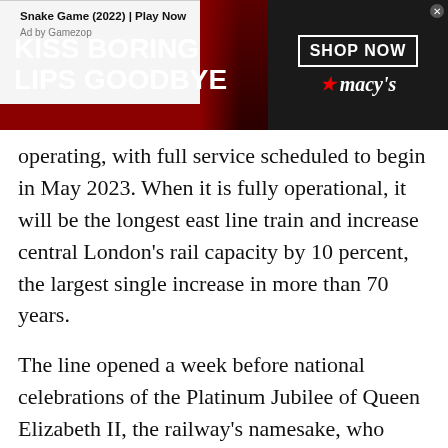[Figure (illustration): Advertisement banner: dark red background with 'KISS BORING LIPS GOODBYE' text on the left and a Macy's 'SHOP NOW' button on the right]
operating, with full service scheduled to begin in May 2023. When it is fully operational, it will be the longest east line train and increase central London's rail capacity by 10 percent, the largest single increase in more than 70 years.
The line opened a week before national celebrations of the Platinum Jubilee of Queen Elizabeth II, the railway's namesake, who made a surprise visit to the Elizabeth line at Paddington Station last week.
[Figure (other): Bottom advertisement bar with two ads: 'Snake Game (2022) | Play Now - Ad by Gamezop' and 'Shop New and Used Car Deals Near You - Ad by Car Deals Near You']